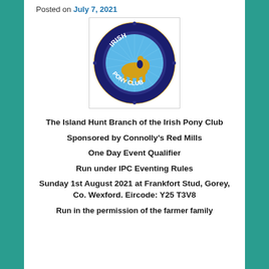Posted on July 7, 2021
[Figure (logo): Irish Pony Club logo — circular badge with gold/yellow horse and rider on blue background, gold rope border, text 'IRISH PONY CLUB']
The Island Hunt Branch of the Irish Pony Club
Sponsored by Connolly's Red Mills
One Day Event Qualifier
Run under IPC Eventing Rules
Sunday 1st August 2021 at Frankfort Stud, Gorey, Co. Wexford. Eircode: Y25 T3V8
Run in the permission of the farmer family...